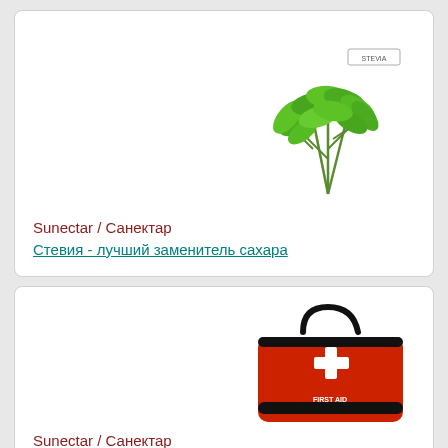[Figure (photo): Green stevia herb plant bunch on white background with small 'STEVIA' label text]
Sunectar / Санектар
Стевия - лучший заменитель сахара
[Figure (photo): Red first aid bag with white cross and black handles on white background with 'FIRST AID' text]
Sunectar / Санектар